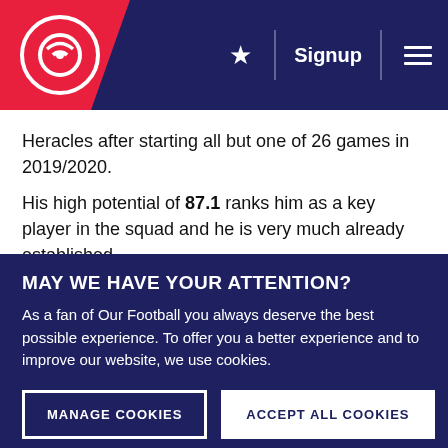Signup
Heracles after starting all but one of 26 games in 2019/2020.
His high potential of 87.1 ranks him as a key player in the squad and he is very much already established
MAY WE HAVE YOUR ATTENTION?
As a fan of Our Football you always deserve the best possible experience. To offer you a better experience and to improve our website, we use cookies.
MANAGE COOKIES
ACCEPT ALL COOKIES
→ Read our Cookie Statement here
→ Read more about the use of personal data